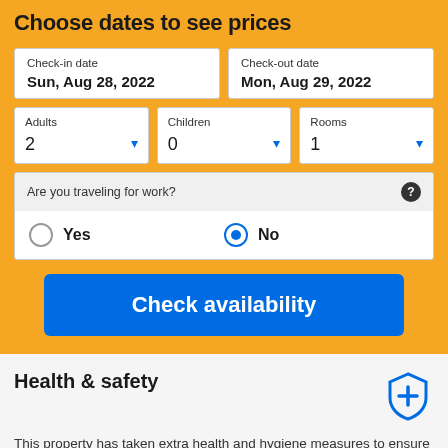Choose dates to see prices
Check-in date: Sun, Aug 28, 2022
Check-out date: Mon, Aug 29, 2022
Adults: 2, Children: 0, Rooms: 1
Are you traveling for work?
Yes (unselected) / No (selected)
Check availability
Health & safety
This property has taken extra health and hygiene measures to ensure your safety is their priority - See